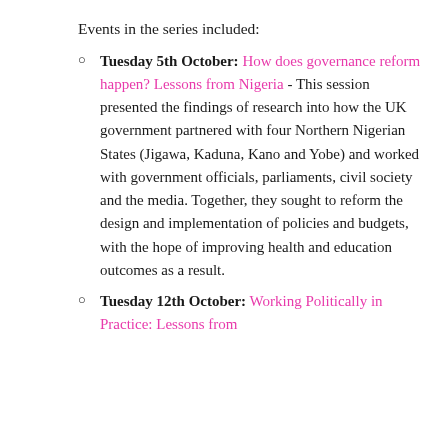Events in the series included:
Tuesday 5th October: How does governance reform happen? Lessons from Nigeria - This session presented the findings of research into how the UK government partnered with four Northern Nigerian States (Jigawa, Kaduna, Kano and Yobe) and worked with government officials, parliaments, civil society and the media. Together, they sought to reform the design and implementation of policies and budgets, with the hope of improving health and education outcomes as a result.
Tuesday 12th October: Working Politically in Practice: Lessons from